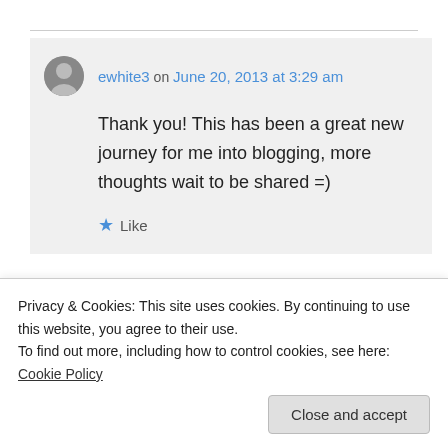ewhite3 on June 20, 2013 at 3:29 am
Thank you! This has been a great new journey for me into blogging, more thoughts wait to be shared =)
Like
Patti Clark on June 20, 2013 at 6:01
Privacy & Cookies: This site uses cookies. By continuing to use this website, you agree to their use.
To find out more, including how to control cookies, see here: Cookie Policy